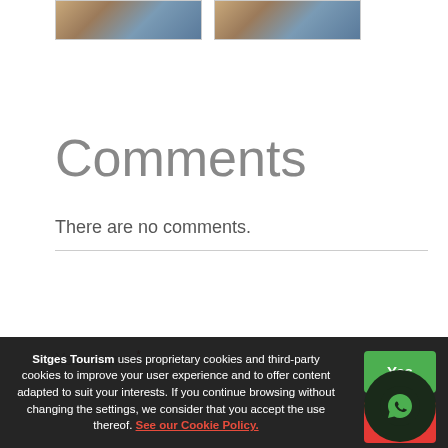[Figure (photo): Two thumbnail images of a coastal town with buildings, side by side at top of page]
Comments
There are no comments.
Your name *
Sitges Tourism uses proprietary cookies and third-party cookies to improve your user experience and to offer content adapted to suit your interests. If you continue browsing without changing the settings, we consider that you accept the use thereof. See our Cookie Policy.